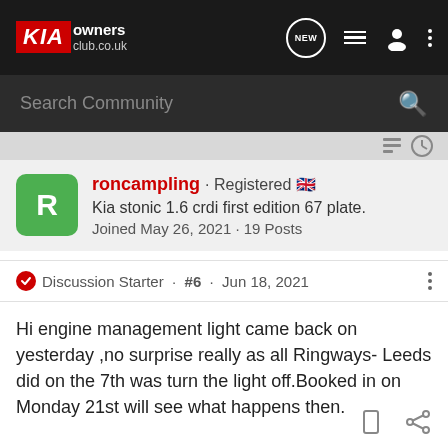KIA owners club.co.uk
Search Community
roncampling · Registered · Kia stonic 1.6 crdi first edition 67 plate. · Joined May 26, 2021 · 19 Posts
Discussion Starter · #6 · Jun 18, 2021
Hi engine management light came back on yesterday ,no surprise really as all Ringways- Leeds did on the 7th was turn the light off.Booked in on Monday 21st will see what happens then.